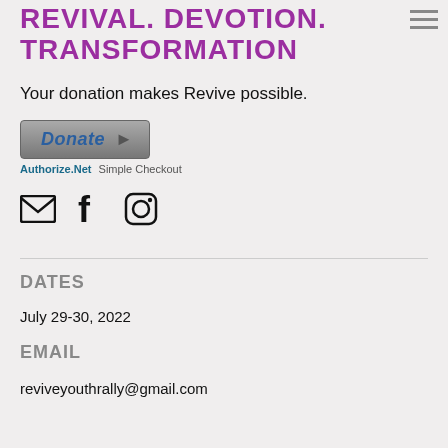REVIVAL. DEVOTION. TRANSFORMATION
Your donation makes Revive possible.
[Figure (screenshot): Authorize.Net Donate button with arrow, followed by 'Authorize.Net Simple Checkout' text below]
[Figure (infographic): Three social media icons: email envelope, Facebook f, Instagram camera]
DATES
July 29-30, 2022
EMAIL
reviveyouthrally@gmail.com